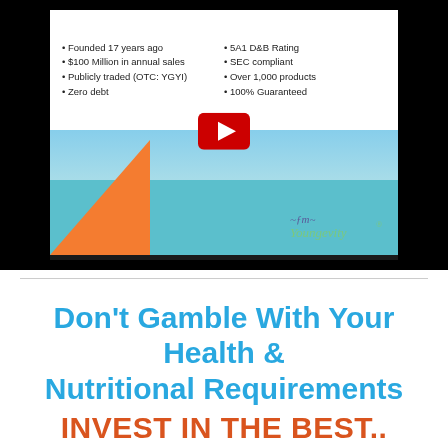[Figure (screenshot): Screenshot of a YouTube video thumbnail showing a Youngevity company presentation slide. The slide lists company credentials: Founded 17 years ago, $100 Million in annual sales, Publicly traded (OTC: YGYI), Zero debt, 5A1 D&B Rating, SEC compliant, Over 1,000 products, 100% Guaranteed. Below is a slide panel with 'Helping You Live Younger, Longer' and the Youngevity logo on a teal/orange background with a nature photo.]
Don't Gamble With Your Health & Nutritional Requirements INVEST IN THE BEST.. SWALLOW THE LEADER